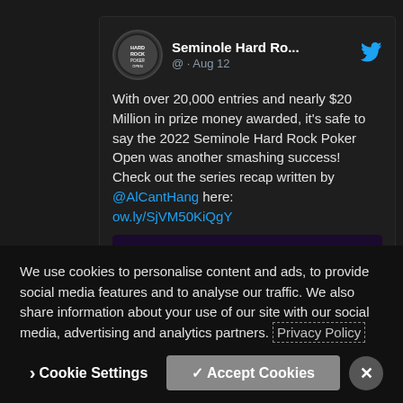[Figure (screenshot): Screenshot of a tweet from Seminole Hard Rock Poker Open account dated Aug 12, with text about 2022 Seminole Hard Rock Poker Open having over 20,000 entries and nearly $20 Million in prize money, mentioning @AlCantHang and a link ow.ly/SjVM50KiQgY. A photo of a group of people celebrating is partially visible.]
We use cookies to personalise content and ads, to provide social media features and to analyse our traffic. We also share information about your use of our site with our social media, advertising and analytics partners. Privacy Policy
Cookie Settings
✓ Accept Cookies